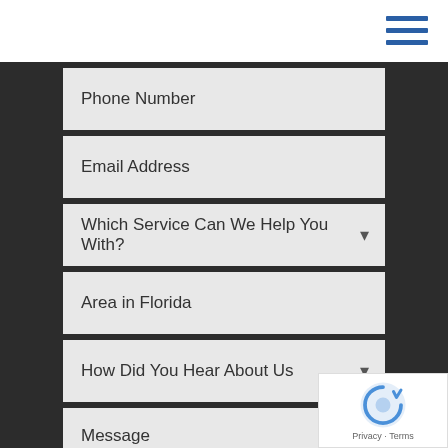[Figure (other): Hamburger menu icon with three blue horizontal lines in top-right corner]
Phone Number
Email Address
Which Service Can We Help You With?
Area in Florida
How Did You Hear About Us
Message
[Figure (other): Google reCAPTCHA badge with spinning logo and Privacy - Terms text]